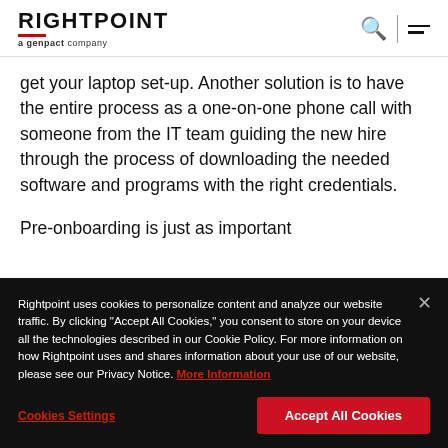[Figure (logo): Rightpoint logo with red underline and 'a genpact company' subtitle, plus search and hamburger menu icons on the right]
get your laptop set-up. Another solution is to have the entire process as a one-on-one phone call with someone from the IT team guiding the new hire through the process of downloading the needed software and programs with the right credentials.
Pre-onboarding is just as important
Rightpoint uses cookies to personalize content and analyze our website traffic. By clicking "Accept All Cookies," you consent to store on your device all the technologies described in our Cookie Policy. For more information on how Rightpoint uses and shares information about your use of our website, please see our Privacy Notice. More Information
Cookies Settings | Accept All Cookies